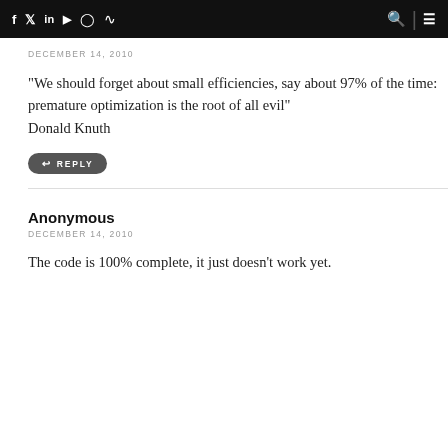f  y  in  YouTube  Instagram  RSS  [search] | [menu]
DECEMBER 14, 2010
"We should forget about small efficiencies, say about 97% of the time: premature optimization is the root of all evil"
Donald Knuth
REPLY
Anonymous
DECEMBER 14, 2010
The code is 100% complete, it just doesn't work yet.